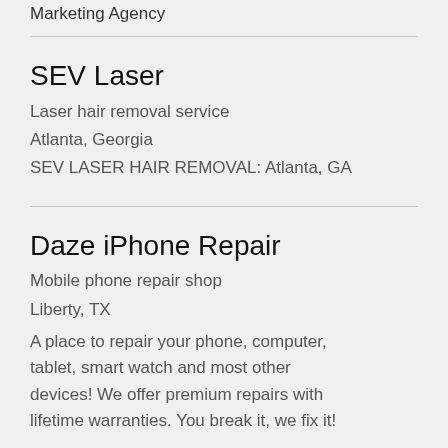Marketing Agency
SEV Laser
Laser hair removal service
Atlanta, Georgia
SEV LASER HAIR REMOVAL: Atlanta, GA
Daze iPhone Repair
Mobile phone repair shop
Liberty, TX
A place to repair your phone, computer, tablet, smart watch and most other devices! We offer premium repairs with lifetime warranties. You break it, we fix it!